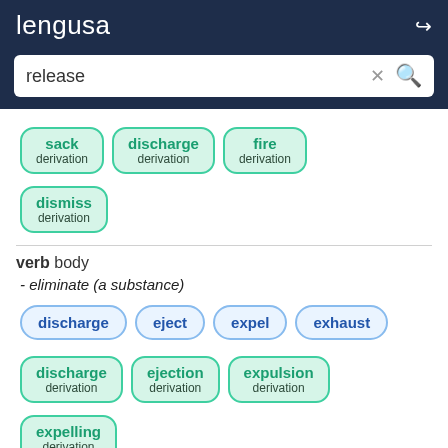lengusa
release
sack derivation
discharge derivation
fire derivation
dismiss derivation
verb body
- eliminate (a substance)
discharge
eject
expel
exhaust
discharge derivation
ejection derivation
expulsion derivation
expelling derivation